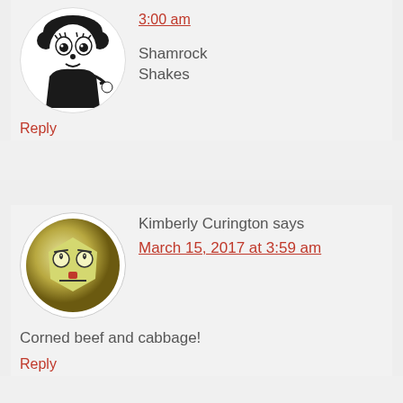[Figure (illustration): Betty Boop cartoon avatar in a white circle]
3:00 am
Shamrock Shakes
Reply
[Figure (illustration): Cartoon pentagon-faced emoji avatar in a white circle with gold/olive background]
Kimberly Curington says
March 15, 2017 at 3:59 am
Corned beef and cabbage!
Reply